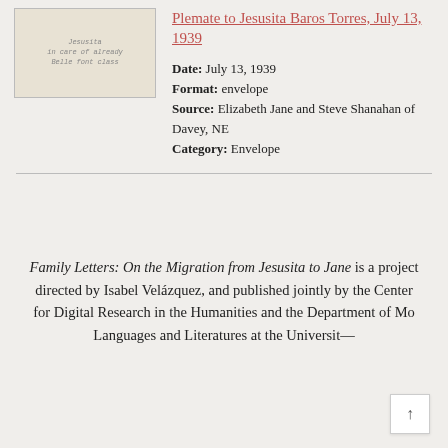[Figure (photo): Scanned image of an old envelope with handwritten text, yellowish paper]
Plemate to Jesusita Baros Torres, July 13, 1939
Date: July 13, 1939
Format: envelope
Source: Elizabeth Jane and Steve Shanahan of Davey, NE
Category: Envelope
Family Letters: On the Migration from Jesusita to Jane is a project directed by Isabel Velázquez, and published jointly by the Center for Digital Research in the Humanities and the Department of Modern Languages and Literatures at the University—